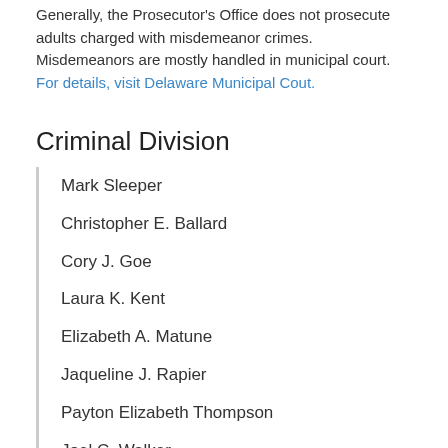Generally, the Prosecutor's Office does not prosecute adults charged with misdemeanor crimes. Misdemeanors are mostly handled in municipal court. For details, visit Delaware Municipal Cout.
Criminal Division
Mark Sleeper
Christopher E. Ballard
Cory J. Goe
Laura K. Kent
Elizabeth A. Matune
Jaqueline J. Rapier
Payton Elizabeth Thompson
Joel C. Walker